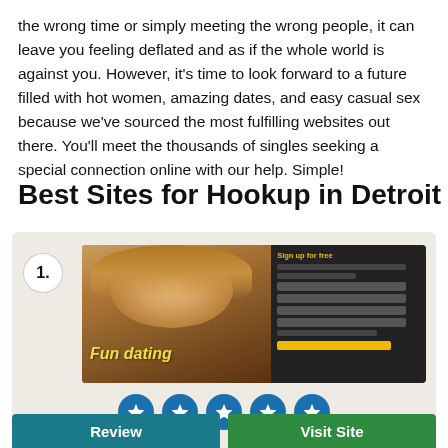the wrong time or simply meeting the wrong people, it can leave you feeling deflated and as if the whole world is against you. However, it's time to look forward to a future filled with hot women, amazing dates, and easy casual sex because we've sourced the most fulfilling websites out there. You'll meet the thousands of singles seeking a special connection online with our help. Simple!
Best Sites for Hookup in Detroit
[Figure (screenshot): Dating site screenshot showing a woman with blonde hair and a signup form with 'Fun dating' text in yellow]
[Figure (infographic): Five blue circle icons each containing a white star, representing a 5-star rating]
Review
Visit Site